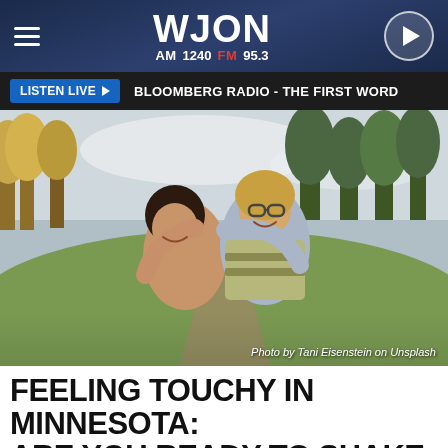WJON AM 1240 FM 95.3
LISTEN LIVE ▶   BLOOMBERG RADIO - THE FIRST WORD
[Figure (photo): Two people hugging and laughing outdoors in a park/field with trees in the background. Photo by Tani Eisenstein on Unsplash.]
Photo by Tani Eisenstein on Unsplash
FEELING TOUCHY IN MINNESOTA: ARE YOU READY TO SHAKE